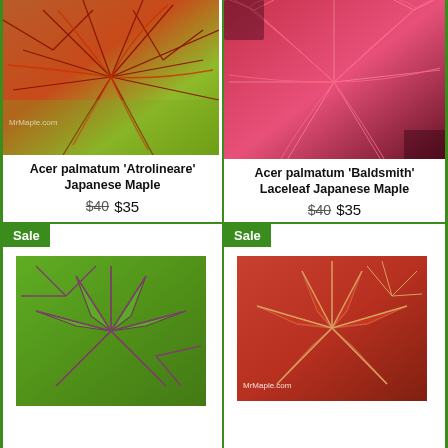[Figure (photo): Close-up photo of Acer palmatum 'Atrolineare' Japanese Maple showing narrow red-green needle-like leaves. MrMaple.com watermark visible.]
Acer palmatum 'Atrolineare' Japanese Maple
$40 $35
[Figure (photo): Close-up photo of Acer palmatum 'Baldsmith' Laceleaf Japanese Maple showing fine pink-red feathery leaves.]
Acer palmatum 'Baldsmith' Laceleaf Japanese Maple
$40 $35
Sale
[Figure (photo): Close-up photo of green Japanese Maple leaves with purple-red veins radiating from center.]
Sale
[Figure (photo): Close-up photo of red Japanese Maple leaves. MrMaple.com watermark visible.]